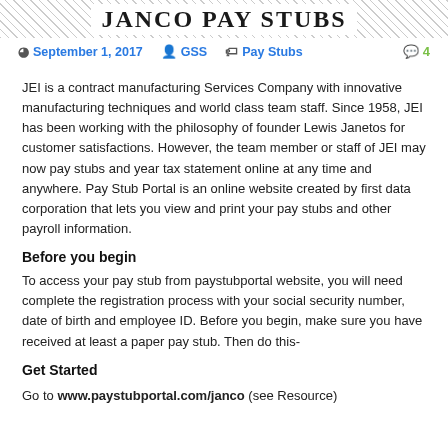JANCO PAY STUBS
September 1, 2017   GSS   Pay Stubs   4
JEI is a contract manufacturing Services Company with innovative manufacturing techniques and world class team staff. Since 1958, JEI has been working with the philosophy of founder Lewis Janetos for customer satisfactions. However, the team member or staff of JEI may now pay stubs and year tax statement online at any time and anywhere. Pay Stub Portal is an online website created by first data corporation that lets you view and print your pay stubs and other payroll information.
Before you begin
To access your pay stub from paystubportal website, you will need complete the registration process with your social security number, date of birth and employee ID. Before you begin, make sure you have received at least a paper pay stub. Then do this-
Get Started
Go to www.paystubportal.com/janco (see Resource)